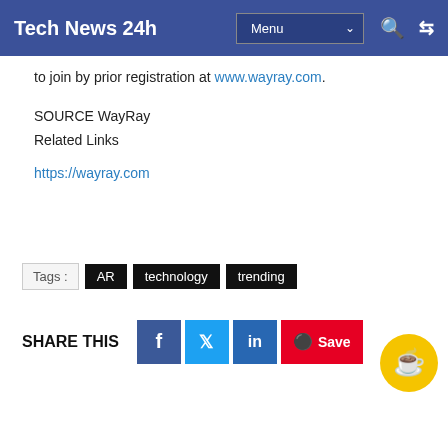Tech News 24h  Menu  🔍 ⇄
to join by prior registration at www.wayray.com.
SOURCE WayRay
Related Links
https://wayray.com
Tags :  AR  technology  trending
SHARE THIS